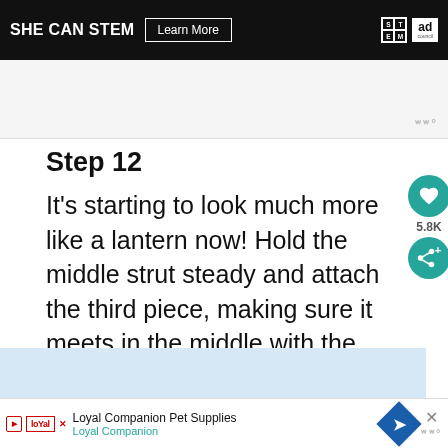[Figure (screenshot): SHE CAN STEM advertisement banner with 'Learn More' button, STEM grid logo, and Ad Council logo on black background]
[Figure (screenshot): Gray/white space area with Wunderkind (ww degree) icon in bottom right]
Step 12
It's starting to look much more like a lantern now! Hold the middle strut steady and attach the third piece, making sure it meets in the middle with the others.
[Figure (screenshot): Light blue content area bar]
[Figure (screenshot): Loyal Companion Pet Supplies advertisement banner with logo, company name, navigation diamond icon, close X button, and Wunderkind icon]